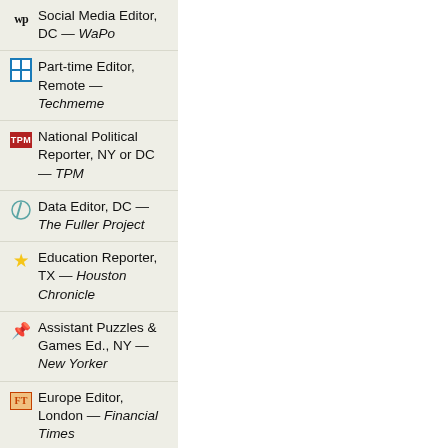Social Media Editor, DC — WaPo
Part-time Editor, Remote — Techmeme
National Political Reporter, NY or DC — TPM
Data Editor, DC — The Fuller Project
Education Reporter, TX — Houston Chronicle
Assistant Puzzles & Games Ed., NY — New Yorker
Europe Editor, London — Financial Times
Home Page Editor, NY — Slate